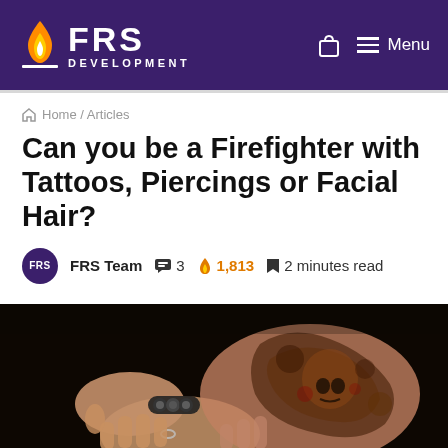[Figure (logo): FRS Development logo with flame icon on purple header background, plus bag and menu icons]
Home / Articles
Can you be a Firefighter with Tattoos, Piercings or Facial Hair?
FRS Team  3  1,813  2 minutes read
[Figure (photo): Close-up photo of tattooed arms crossed, showing sleeve tattoos with skull and floral designs, beaded bracelet and ring visible]